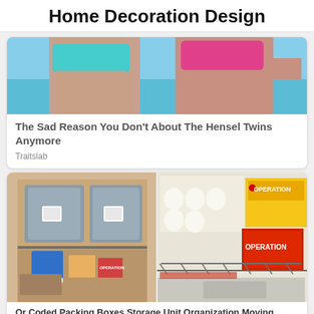Home Decoration Design
[Figure (photo): Two women in bikinis at a beach, cropped showing torsos]
The Sad Reason You Don't About The Hensel Twins Anymore
Traitslab
[Figure (photo): Left: storage shelves with gray plastic bins labeled with QR codes and boxes below including Operation board game. Right: refrigerator shelf with eggs and Operation board game boxes.]
Or Coded Packing Boxes Storage Unit Organization Moving